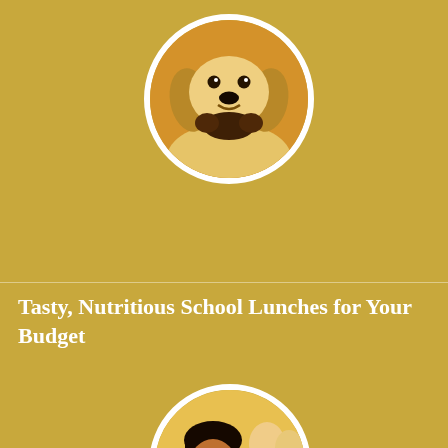[Figure (photo): Golden retriever puppy holding a stuffed toy in its mouth, circular cropped photo with white border]
Tasty, Nutritious School Lunches for Your Budget
[Figure (photo): Young girl smiling at school desk with other children in background, circular cropped photo with white border]
Tips to Food-Fueling Your Active Vegan Child